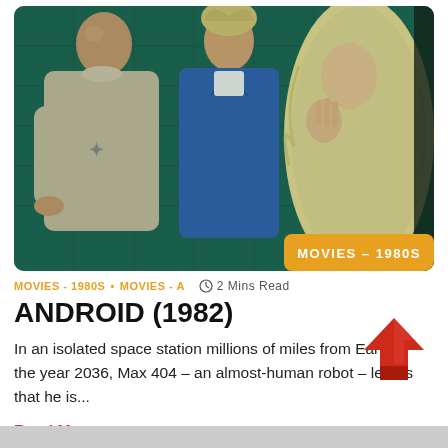[Figure (photo): Movie still from Android (1982): three figures in a space station setting — a bald man in a beige top, a man in a blue suit, and a woman with long blonde curly hair. Badge overlay reads 'MOVIES – 1980S'.]
MOVIES - 1980S • MOVIES - A   🕐 2 Mins Read
ANDROID (1982)
In an isolated space station millions of miles from Earth in the year 2036, Max 404 – an almost-human robot – learns that he is...
Read More